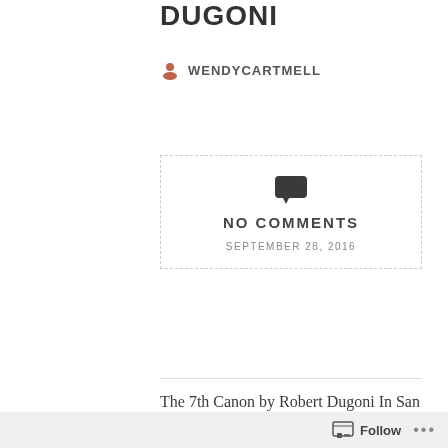DUGONI
WENDYCARTMELL
[Figure (other): Dashed border box with speech bubble icon, NO COMMENTS text, and date SEPTEMBER 28, 2016]
The 7th Canon by Robert Dugoni In San Francisco's seamy Tenderloin district, a teenage street hustler has been murdered in a shelter for boys. And the dedicated priest who runs the struggling home stands accused.
Follow ...